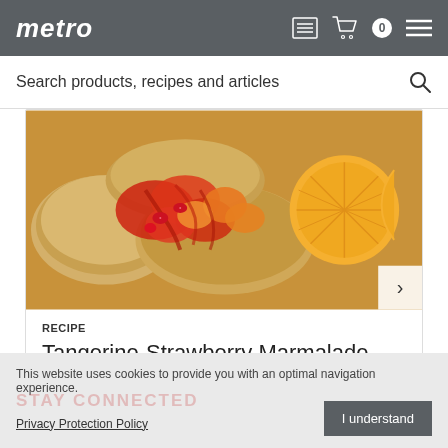metro
Search products, recipes and articles
[Figure (photo): Food photo showing tangerine-strawberry marmalade on biscuits with tangerine slices]
RECIPE
Tangerine-Strawberry Marmalade
This website uses cookies to provide you with an optimal navigation experience.
Privacy Protection Policy
I understand